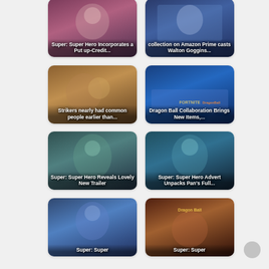[Figure (illustration): Card: Dragon Ball Super: Super Hero Incorporates a Put up-Credit... - anime character image]
[Figure (illustration): Card: collection on Amazon Prime casts Walton Goggins... - image]
[Figure (illustration): Card: Strikers nearly had common people earlier than... - anime game image]
[Figure (illustration): Card: Dragon Ball Collaboration Brings New Items,... - Fortnite Dragon Ball image]
[Figure (illustration): Card: Dragon Ball Super: Super Hero Reveals Lovely New Trailer - anime image]
[Figure (illustration): Card: Dragon Ball Super: Super Hero Advert Unpacks Pan's Full... - anime image]
[Figure (illustration): Card: Dragon Ball Super: Super [partial] - anime image]
[Figure (illustration): Card: Dragon Ball Super: Super [partial] - anime image]